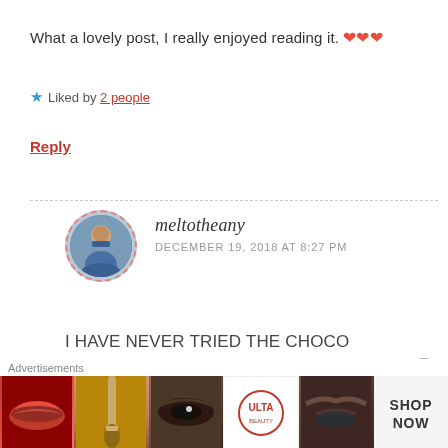What a lovely post, I really enjoyed reading it. ❤❤❤
★ Liked by 2 people
Reply
[Figure (photo): User avatar of meltotheany — circular profile photo with dashed red border showing a young woman holding books outdoors]
meltotheany
DECEMBER 19, 2018 AT 8:27 PM
I HAVE NEVER TRIED THE CHOCO DEVOURED ONE BUT I AM BUYING RIGHT NOW! OH MY WORD!
Advertisements
[Figure (photo): Advertisement banner for ULTA beauty products showing makeup imagery: lips, brush, eye, ULTA logo, eyebrows, and SHOP NOW text]